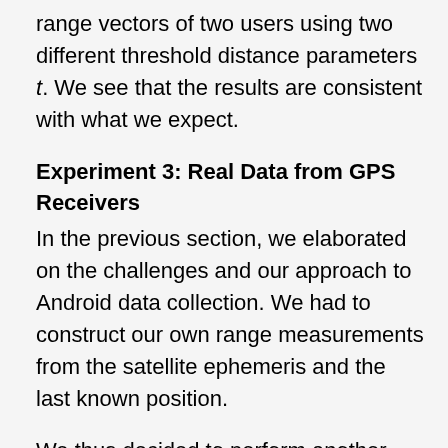range vectors of two users using two different threshold distance parameters t. We see that the results are consistent with what we expect.
Experiment 3: Real Data from GPS Receivers
In the previous section, we elaborated on the challenges and our approach to Android data collection. We had to construct our own range measurements from the satellite ephemeris and the last known position.
We thus decided to perform another experiment with small L1 single-frequency GPS receivers known to output pseudorange measurements. Four graduate students from University of Illinois took part in this experiment. Two of them drove in opposite directions from the Urbana-Champaign campus for a few